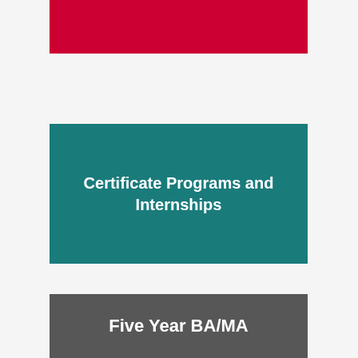[Figure (other): Red decorative bar at the top of the page]
Certificate Programs and Internships
Five Year BA/MA